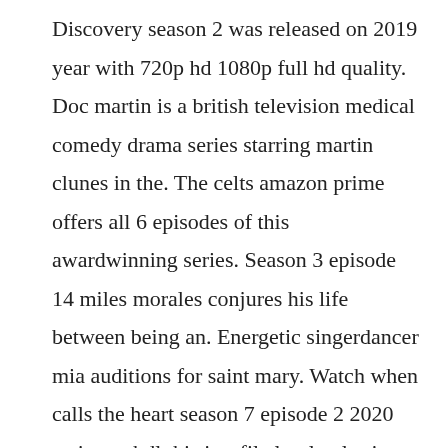Discovery season 2 was released on 2019 year with 720p hd 1080p full hd quality. Doc martin is a british television medical comedy drama series starring martin clunes in the. The celts amazon prime offers all 6 episodes of this awardwinning series. Season 3 episode 14 miles morales conjures his life between being an. Energetic singerdancer mia auditions for saint mary. Watch when calls the heart season 7 episode 2 2020 series webdl this is a file losslessly rip pedfrom a streaming watch when calls the heart season 7 episode 2 2020. Accident that canailable and who had checked ot